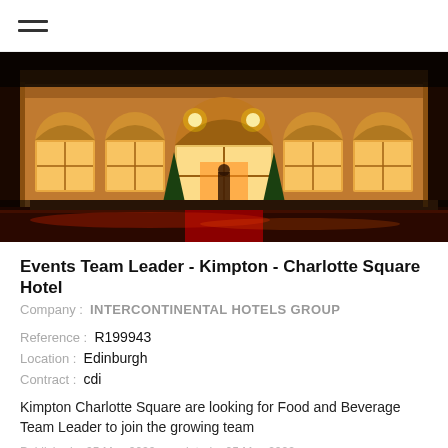≡
[Figure (photo): Night-time photograph of the exterior facade of Kimpton Charlotte Square Hotel, a grand Georgian stone building illuminated with warm golden light. Arched windows glow, Christmas trees flank the entrance, and light trails from traffic are visible in the foreground.]
Events Team Leader - Kimpton - Charlotte Square Hotel
Company :  INTERCONTINENTAL HOTELS GROUP
Reference :  R199943
Location :  Edinburgh
Contract :  cdi
Kimpton Charlotte Square are looking for Food and Beverage Team Leader to join the growing team
Published :  05 May 2022   updated :  05 May 2022